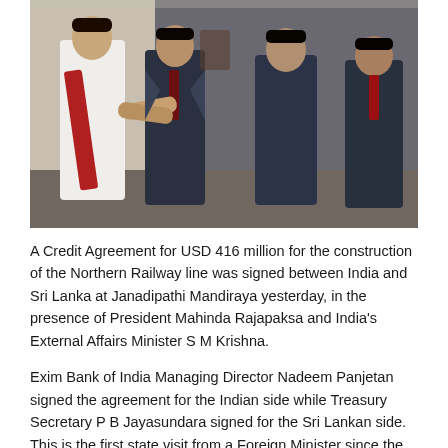[Figure (photo): A group of dignitaries shaking hands at Janadipathi Mandiraya. A man in white traditional Sri Lankan dress with a red sash shakes hands with a man in a dark suit. Several other men in dark suits stand in the background.]
A Credit Agreement for USD 416 million for the construction of the Northern Railway line was signed between India and Sri Lanka at Janadipathi Mandiraya yesterday, in the presence of President Mahinda Rajapaksa and India's External Affairs Minister S M Krishna.
Exim Bank of India Managing Director Nadeem Panjetan signed the agreement for the Indian side while Treasury Secretary P B Jayasundara signed for the Sri Lankan side. This is the first state visit from a Foreign Minister since the inauguration of the President's second term of office.